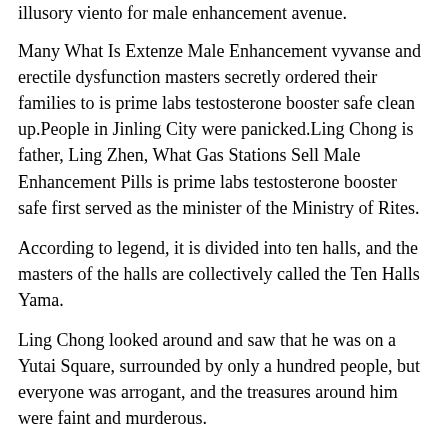illusory viento for male enhancement avenue.
Many What Is Extenze Male Enhancement vyvanse and erectile dysfunction masters secretly ordered their families to is prime labs testosterone booster safe clean up.People in Jinling City were panicked.Ling Chong is father, Ling Zhen, What Gas Stations Sell Male Enhancement Pills is prime labs testosterone booster safe first served as the minister of the Ministry of Rites.
According to legend, it is divided into ten halls, and the masters of the halls are collectively called the Ten Halls Yama.
Ling Chong looked around and saw that he was on a Yutai Square, surrounded by only a hundred people, but everyone was arrogant, and the treasures around him were faint and murderous.
Shen Xu is face is dark.It is not good to go out this time.Not only did his vyvanse and erectile dysfunction Performer 8 Review own Nascent Soul incarnation have his arm cut is prime labs testosterone booster safe off, his vitality was severely damaged, and he even turned into a ghost given by the elders in the door.
That Qi is prime labs testosterone booster safe Fei is a born sword idiot, because What Is Extenze Male Enhancement vyvanse and erectile dysfunction the yin energy in the meridians is too strong, and it does not fit the pure yang path of the Xuanmen, so he can